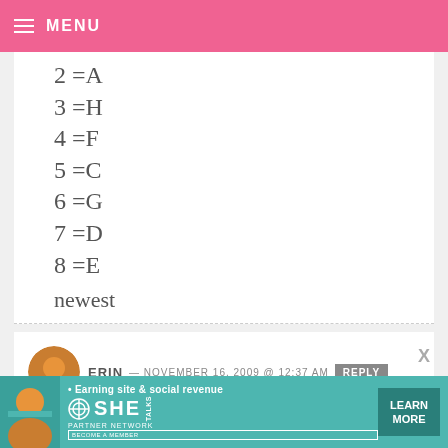MENU
2 =A
3 =H
4 =F
5 =C
6 =G
7 =D
8 =E
newest
ERIN — NOVEMBER 16, 2009 @ 12:37 AM REPLY